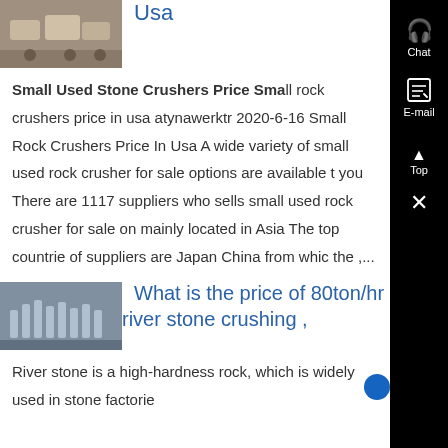[Figure (photo): Thumbnail image of stone crushers at top left]
Usa
Small Used Stone Crushers Price Small rock crushers price in usa atynawerktr 2020-6-16 Small Rock Crushers Price In Usa A wide variety of small used rock crusher for sale options are available to you There are 1117 suppliers who sells small used rock crusher for sale on mainly located in Asia The top countries of suppliers are Japan China from which the ,...
[Figure (photo): Thumbnail image of river stone crushing equipment]
What is the price of 80ton/hr river stone crushing ,
River stone is a high-hardness rock, which is widely used in stone factories